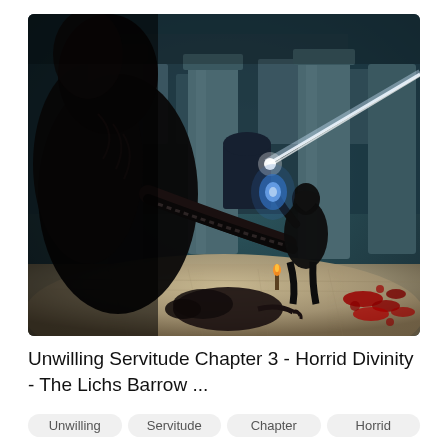[Figure (screenshot): A dark fantasy video game screenshot showing a dungeon or barrow interior with teal/blue-green lighting. A large skeletal or dark-armored creature is in the foreground left, facing a robed figure in the center-right holding a glowing blue magical effect. Stone pillars and archways in the background. A fallen creature lies on the stone floor bottom center. Blood splatters visible on the floor bottom right. A bright magical beam/ray shoots from upper right area.]
Unwilling Servitude Chapter 3 - Horrid Divinity - The Lichs Barrow ...
Unwilling
Servitude
Chapter
Horrid